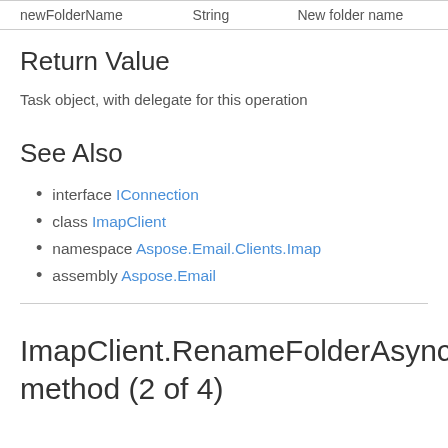| newFolderName | String | New folder name |
| --- | --- | --- |
Return Value
Task object, with delegate for this operation
See Also
interface IConnection
class ImapClient
namespace Aspose.Email.Clients.Imap
assembly Aspose.Email
ImapClient.RenameFolderAsync method (2 of 4)